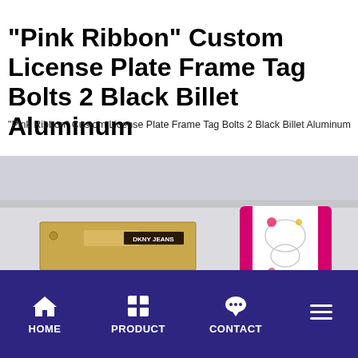"Pink Ribbon" Custom License Plate Frame Tag Bolts 2 Black Billet Aluminum
"Pink Ribbon" Custom License Plate Frame Tag Bolts 2 Black Billet Aluminum
[Figure (photo): Photo showing various label/tag products including a DKNY Jeans kraft label, a Pia Rossini black label, a floral Smart Baby tag, and a partially visible red Karina label, displayed on a light gray surface.]
HOME  PRODUCT  CONTACT  [menu]